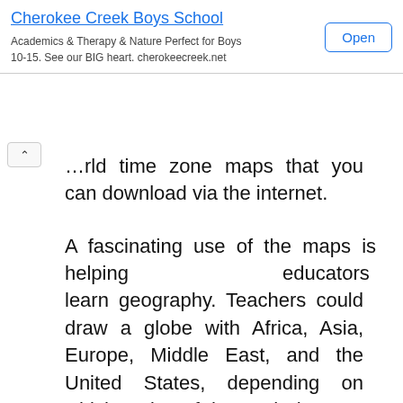[Figure (other): Cherokee Creek Boys School advertisement banner with title, subtitle text, and Open button]
…rld time zone maps that you can download via the internet.
A fascinating use of the maps is helping educators learn geography. Teachers could draw a globe with Africa, Asia, Europe, Middle East, and the United States, depending on which region of the earth they are teaching. Then, students can trace the continents, oceans, and physical boundaries of those countries on their map outline.